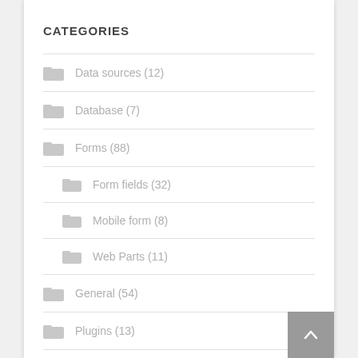CATEGORIES
Data sources (12)
Database (7)
Forms (88)
Form fields (32)
Mobile form (8)
Web Parts (11)
General (54)
Plugins (13)
Processes (121)
Actions (48)